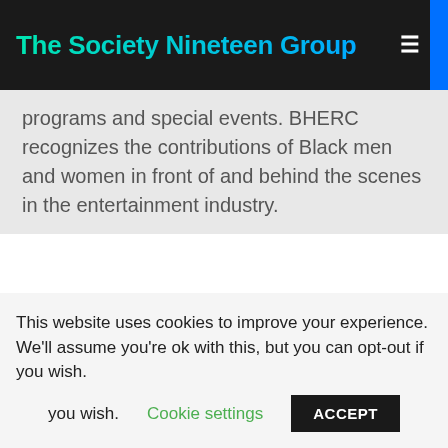The Society Nineteen Group
programs and special events. BHERC recognizes the contributions of Black men and women in front of and behind the scenes in the entertainment industry.
Posted on November 5, 2019.
people
This website uses cookies to improve your experience. We'll assume you're ok with this, but you can opt-out if you wish. Cookie settings ACCEPT